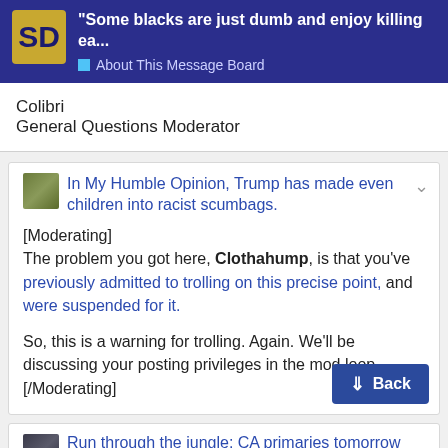“Some blacks are just dumb and enjoy killing ea… About This Message Board
Colibri
General Questions Moderator
In My Humble Opinion, Trump has made even children into racist scumbags.
[Moderating]
The problem you got here, Clothahump, is that you've previously admitted to trolling on this precise point, and were suspended for it.
So, this is a warning for trolling. Again. We'll be discussing your posting privileges in the mod loop.
[/Moderating]
Run through the jungle: CA primaries tomorrow (6/5)
This is a warning for being a jerk, but it c
177 / 209